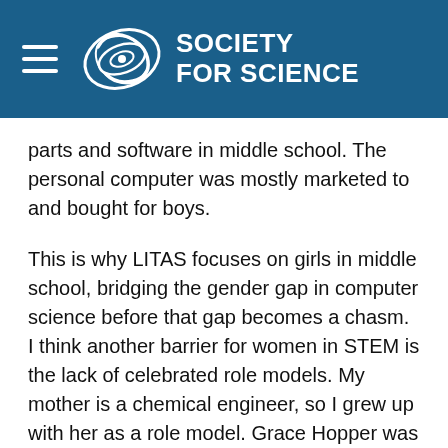[Figure (logo): Society for Science logo with galaxy/spiral icon and white text on blue background, with hamburger menu icon]
parts and software in middle school. The personal computer was mostly marketed to and bought for boys.
This is why LITAS focuses on girls in middle school, bridging the gender gap in computer science before that gap becomes a chasm. I think another barrier for women in STEM is the lack of celebrated role models. My mother is a chemical engineer, so I grew up with her as a role model. Grace Hopper was not recognized in the Mark I computer museum until 50 years after it was built, even though she played an integral role in the computer's development. In LITAS, I start each class with an example of a successful woman in technology — from Ada Lovelace, to the women